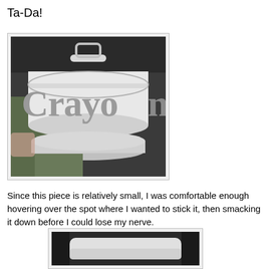Ta-Da!
[Figure (photo): Close-up photo of a white Crayola label/wrapper being peeled or held, with the word 'Crayo' visible in large gray serif letters on a white band. Background is dark.]
Since this piece is relatively small, I was comfortable enough hovering over the spot where I wanted to stick it, then smacking it down before I could lose my nerve.
[Figure (photo): Partial photo showing a dark background with what appears to be a white rounded object, the bottom portion of another step in the craft process.]